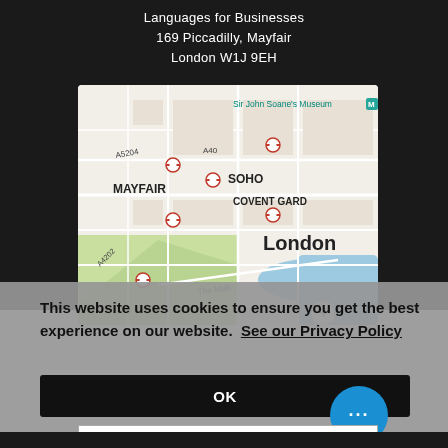Languages for Businesses
169 Piccadilly, Mayfair
London W1J 9EH
[Figure (map): Google Map showing central London area with MAYFAIR, SOHO, COVENT GARD(EN), The Mall labels, underground station markers, road labels A5204, A40, A4202, and Sir John Soane's Museum marked.]
This website uses cookies to ensure you get the best experience on our website. See our Privacy Policy
OK
Email *